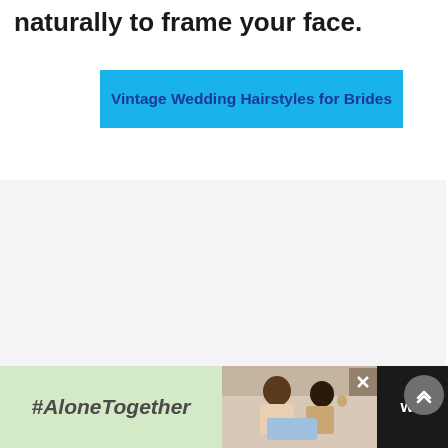naturally to frame your face.
Vintage Wedding Hairstyles for Brides
[Figure (other): Light gray rectangular placeholder/ad area]
[Figure (other): Bottom advertisement bar with #AloneTogether text, photo of man and child waving, close button, and logo]
#AloneTogether